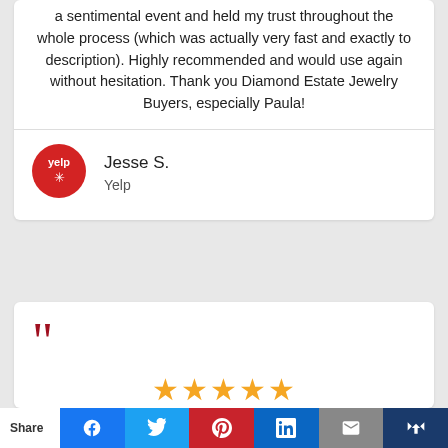a sentimental event and held my trust throughout the whole process (which was actually very fast and exactly to description). Highly recommended and would use again without hesitation. Thank you Diamond Estate Jewelry Buyers, especially Paula!
Jesse S.
Yelp
[Figure (logo): Yelp logo - red circle with white yelp text and burst star]
““
[Figure (infographic): 5 gold stars rating]
I inherited a vintage Rolex. About 40 years old,
Share | Facebook | Twitter | Pinterest | LinkedIn | Email | Crown